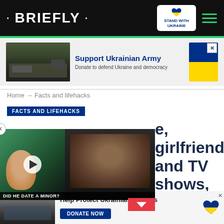• BRIEFLY •
[Figure (screenshot): Briefly news website header with logo, Stand With Ukraine badge, and hamburger menu]
[Figure (infographic): Ad banner: Support Ukrainian Army - Donate to defend Ukraine and democracy, with soldiers image and Ukrainian flag colors]
Home → Facts and lifehacks
FACTS AND LIFEHACKS
e, girlfriend, and TV shows,
[Figure (screenshot): Video popup showing a man smiling and a couple, with caption 'DID HE DATE A MINOR?' and a red chevron button]
[Figure (infographic): Bottom ad banner: Help Protect Ukrainian Families with DONATE NOW button and heart icon]